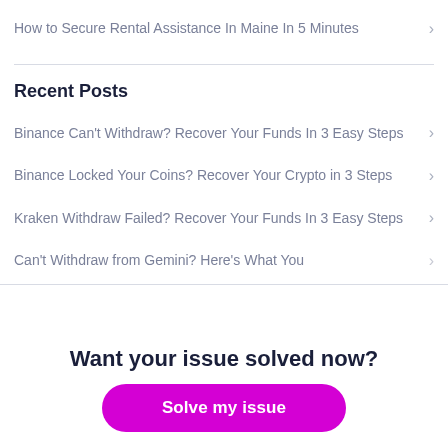How to Secure Rental Assistance In Maine In 5 Minutes
Recent Posts
Binance Can't Withdraw? Recover Your Funds In 3 Easy Steps
Binance Locked Your Coins? Recover Your Crypto in 3 Steps
Kraken Withdraw Failed? Recover Your Funds In 3 Easy Steps
Can't Withdraw from Gemini? Here's What You
Want your issue solved now?
Solve my issue